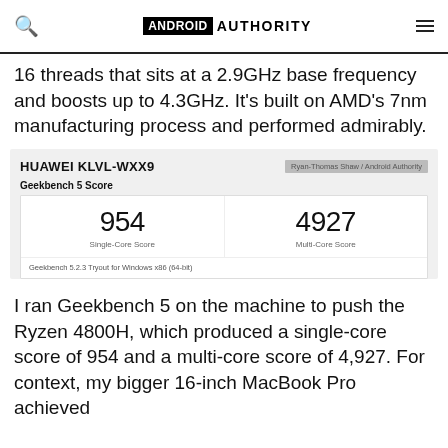ANDROID AUTHORITY
16 threads that sits at a 2.9GHz base frequency and boosts up to 4.3GHz. It's built on AMD's 7nm manufacturing process and performed admirably.
[Figure (screenshot): Geekbench 5 Score result card for HUAWEI KLVL-WXX9 showing Single-Core Score of 954 and Multi-Core Score of 4927, from Geekbench 5.2.3 Tryout for Windows x86 (64-bit). Credit: Ryan-Thomas Shaw / Android Authority]
I ran Geekbench 5 on the machine to push the Ryzen 4800H, which produced a single-core score of 954 and a multi-core score of 4,927. For context, my bigger 16-inch MacBook Pro achieved